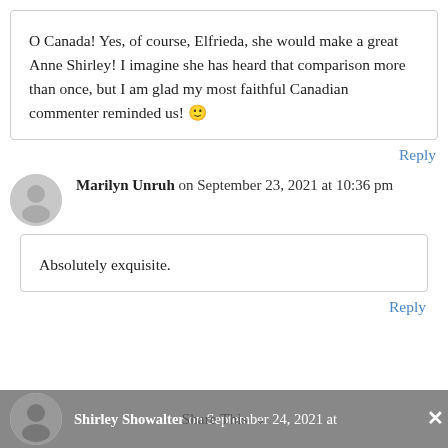O Canada! Yes, of course, Elfrieda, she would make a great Anne Shirley! I imagine she has heard that comparison more than once, but I am glad my most faithful Canadian commenter reminded us! 🙂
Reply
Marilyn Unruh on September 23, 2021 at 10:36 pm
Absolutely exquisite.
Reply
Shirley Showalter on September 24, 2021 at